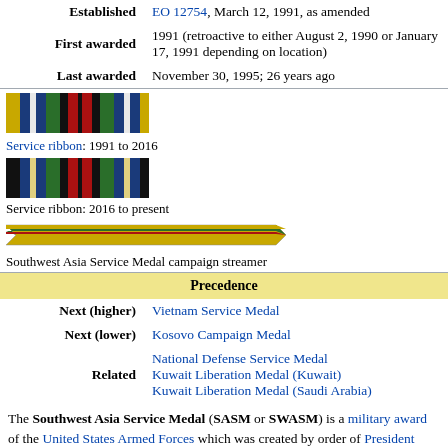| Field | Value |
| --- | --- |
| Established | EO 12754, March 12, 1991, as amended |
| First awarded | 1991 (retroactive to either August 2, 1990 or January 17, 1991 depending on location) |
| Last awarded | November 30, 1995; 26 years ago |
[Figure (illustration): Service ribbon image 1991 to 2016 version]
Service ribbon: 1991 to 2016
[Figure (illustration): Service ribbon image 2016 to present version]
Service ribbon: 2016 to present
[Figure (illustration): Southwest Asia Service Medal campaign streamer]
Southwest Asia Service Medal campaign streamer
Precedence
| Field | Value |
| --- | --- |
| Next (higher) | Vietnam Service Medal |
| Next (lower) | Kosovo Campaign Medal |
| Related | National Defense Service Medal
Kuwait Liberation Medal (Kuwait)
Kuwait Liberation Medal (Saudi Arabia) |
The Southwest Asia Service Medal (SASM or SWASM) is a military award of the United States Armed Forces which was created by order of President George H.W. Bush on March 12,